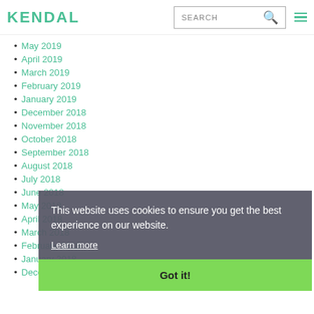KENDAL | SEARCH
May 2019
April 2019
March 2019
February 2019
January 2019
December 2018
November 2018
October 2018
September 2018
August 2018
July 2018
June 2018
May 2018
April 2018
March 2018
February 2018
January 2018
December 2017
This website uses cookies to ensure you get the best experience on our website. Learn more Got it!